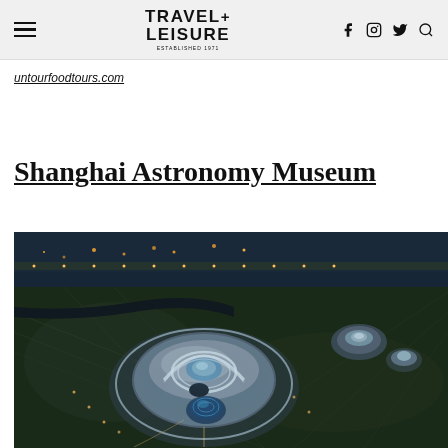TRAVEL+ LEISURE
untourfoodtours.com
Shanghai Astronomy Museum
[Figure (photo): Aerial night photograph of the Shanghai Astronomy Museum showing its distinctive circular futuristic architecture illuminated at night, surrounded by roads and green spaces]